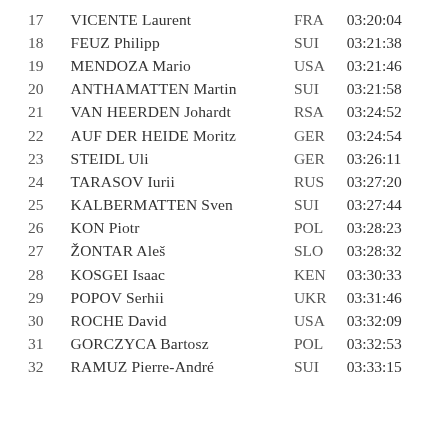| Rank | Name | Country | Time |
| --- | --- | --- | --- |
| 17 | VICENTE Laurent | FRA | 03:20:04 |
| 18 | FEUZ Philipp | SUI | 03:21:38 |
| 19 | MENDOZA Mario | USA | 03:21:46 |
| 20 | ANTHAMATTEN Martin | SUI | 03:21:58 |
| 21 | VAN HEERDEN Johardt | RSA | 03:24:52 |
| 22 | AUF DER HEIDE Moritz | GER | 03:24:54 |
| 23 | STEIDL Uli | GER | 03:26:11 |
| 24 | TARASOV Iurii | RUS | 03:27:20 |
| 25 | KALBERMATTEN Sven | SUI | 03:27:44 |
| 26 | KON Piotr | POL | 03:28:23 |
| 27 | ŽONTAR Aleš | SLO | 03:28:32 |
| 28 | KOSGEI Isaac | KEN | 03:30:33 |
| 29 | POPOV Serhii | UKR | 03:31:46 |
| 30 | ROCHE David | USA | 03:32:09 |
| 31 | GORCZYCA Bartosz | POL | 03:32:53 |
| 32 | RAMUZ Pierre-André | SUI | 03:33:15 |